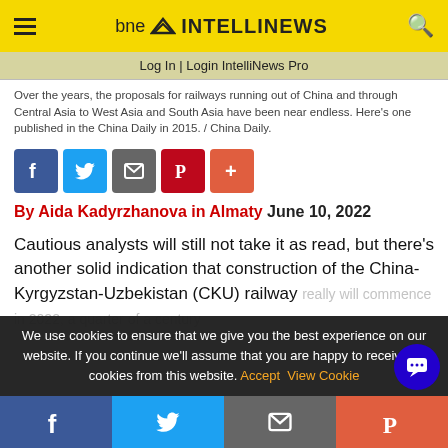bne INTELLINEWS
Log In | Login IntelliNews Pro
Over the years, the proposals for railways running out of China and through Central Asia to West Asia and South Asia have been near endless. Here's one published in the China Daily in 2015. / China Daily.
[Figure (other): Social sharing buttons: Facebook, Twitter, Email, Pinterest, Plus]
By Aida Kadyrzhanova in Almaty June 10, 2022
Cautious analysts will still not take it as read, but there's another solid indication that construction of the China-Kyrgyzstan-Uzbekistan (CKU) railway really will commence in 2022, a quarter of a century...
We use cookies to ensure that we give you the best experience on our website. If you continue we'll assume that you are happy to receive all cookies from this website. Accept  View Cookie
[Figure (other): Bottom social sharing bar: Facebook, Twitter, Email, Pinterest]